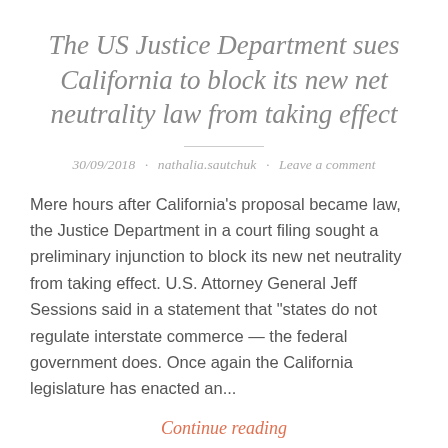The US Justice Department sues California to block its new net neutrality law from taking effect
30/09/2018 · nathalia.sautchuk · Leave a comment
Mere hours after California's proposal became law, the Justice Department in a court filing sought a preliminary injunction to block its new net neutrality from taking effect. U.S. Attorney General Jeff Sessions said in a statement that "states do not regulate interstate commerce — the federal government does. Once again the California legislature has enacted an...
Continue reading